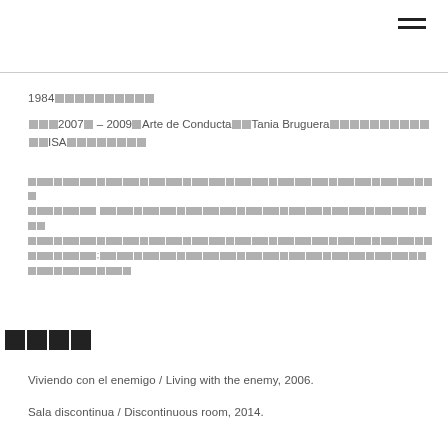≡ (hamburger menu icon)
1984 [CJK characters]
[CJK] 2007 – 2009 Arte de Conducta [CJK] Tania Bruguera [CJK] ISA [CJK]
[CJK body text paragraph]
[CJK characters - bold large]
Viviendo con el enemigo / Living with the enemy, 2006.
Sala discontinua / Discontinuous room, 2014.